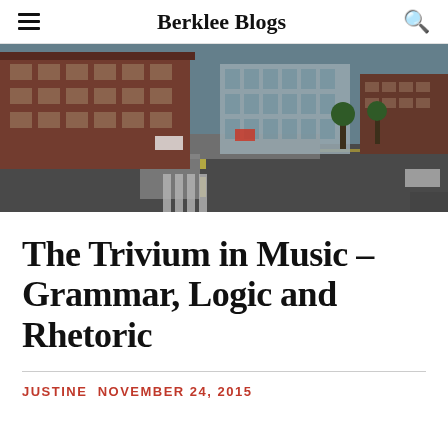Berklee Blogs
[Figure (photo): Aerial/elevated view of a city block with brick buildings on the left, a modern glass building in the center-right, and a multi-lane road in the foreground. Likely the Berklee College of Music campus area in Boston.]
The Trivium in Music – Grammar, Logic and Rhetoric
JUSTINE  NOVEMBER 24, 2015